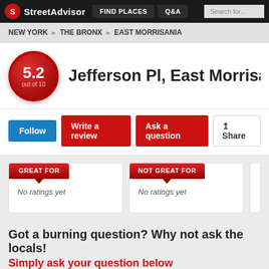StreetAdvisor | FIND PLACES | Q&A | Search for...
NEW YORK ▶ THE BRONX ▶ EAST MORRISANIA
Jefferson Pl, East Morrisania
5.2 out of 10
Follow | Write a review | Ask a question | Share
GREAT FOR — No ratings yet
NOT GREAT FOR — No ratings yet
Got a burning question? Why not ask the locals!
Simply ask your question below
What do you want to know?